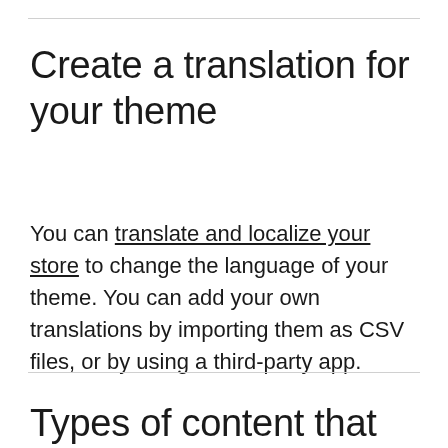Create a translation for your theme
You can translate and localize your store to change the language of your theme. You can add your own translations by importing them as CSV files, or by using a third-party app.
Types of content that can